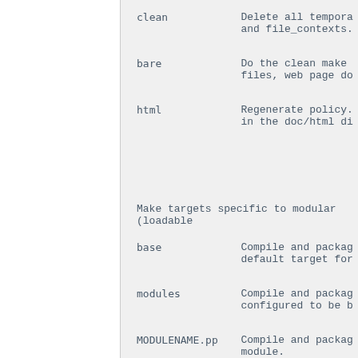| Target | Description |
| --- | --- |
| clean | Delete all tempora and file_contexts. |
| bare | Do the clean make files, web page do |
| html | Regenerate policy. in the doc/html di |
Make targets specific to modular (loadable
| Target | Description |
| --- | --- |
| base | Compile and packag default target for |
| modules | Compile and packag configured to be b |
| MODULENAME.pp | Compile and packag module. |
| all | Compile and packag Policy modules con modules. |